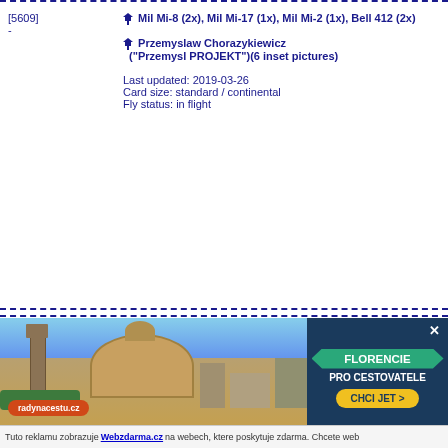[5609]
-
Mil Mi-8 (2x), Mil Mi-17 (1x), Mil Mi-2 (1x), Bell 412 (2x)
Przemyslaw Chorazykiewicz ("Przemysl PROJEKT")(6 inset pictures)
Last updated: 2019-03-26
Card size: standard / continental
Fly status: in flight
[3601]
-
Mil Mi-8, Mil Mi-24 (8x)   07, -
Russian Air Force
Damals in Deutschland (Bilder zur Luftfahrtgeschichte)
Last updated: 2007-10-25
[Figure (photo): Advertisement banner: photo of Florence/Firenze cityscape with dome, with text 'FLORENCIE PRO CESTOVATELE', 'CHCI JET', 'radynacestu.cz']
Tuto reklamu zobrazuje Webzdarma.cz na webech, ktere poskytuje zdarma. Chcete web